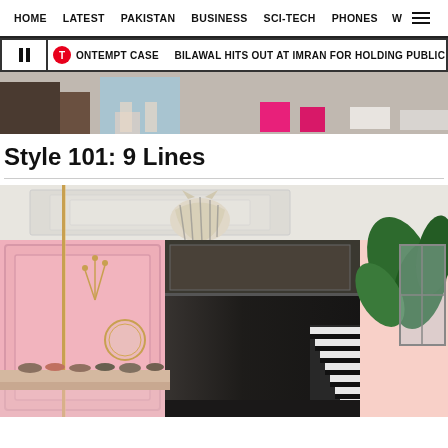HOME  LATEST  PAKISTAN  BUSINESS  SCI-TECH  PHONES  W  ☰
CONTEMPT CASE  🔴 BILAWAL HITS OUT AT IMRAN FOR HOLDING PUBLIC RALLIES DE
[Figure (photo): Cropped image of people's legs and feet wearing various colorful shoes/sandals against a light background]
Style 101: 9 Lines
[Figure (photo): Interior of a fashion retail store with pink walls, gold poles, white ornate ceiling, dark corridor leading to stairs, tropical leaf wallpaper on right, display shelves with shoes, and a striped sculptural element hanging from ceiling]